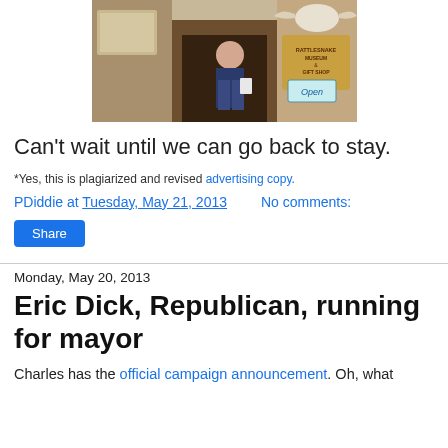[Figure (photo): Person standing in front of Rattlesnake Museum and Gift Shop entrance, with a longhorn skull decoration visible and an 'Open' sign]
Can't wait until we can go back to stay.
*Yes, this is plagiarized and revised advertising copy.
PDiddie at Tuesday, May 21, 2013   No comments:
Share
Monday, May 20, 2013
Eric Dick, Republican, running for mayor
Charles has the official campaign announcement. Oh, what